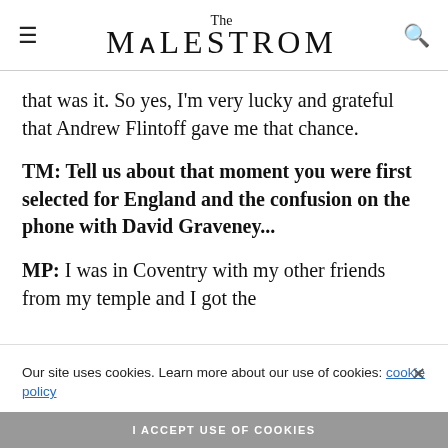The MALESTROM
that was it. So yes, I'm very lucky and grateful that Andrew Flintoff gave me that chance.
TM: Tell us about that moment you were first selected for England and the confusion on the phone with David Graveney...
MP: I was in Coventry with my other friends from my temple and I got the
Our site uses cookies. Learn more about our use of cookies: cookie policy
I ACCEPT USE OF COOKIES